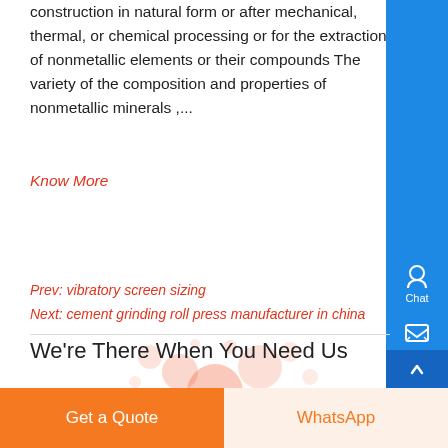construction in natural form or after mechanical, thermal, or chemical processing or for the extraction of nonmetallic elements or their compounds The variety of the composition and properties of nonmetallic minerals ,...
Know More
Prev: vibratory screen sizing
Next: cement grinding roll press manufacturer in china
[Figure (illustration): Decorative bubble/droplet graphic in light orange/pink tones]
We’re There When You Need Us
Get a Quote
WhatsApp